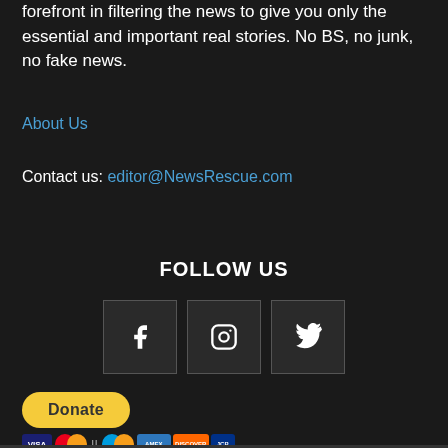forefront in filtering the news to give you only the essential and important real stories. No BS, no junk, no fake news.
About Us
Contact us: editor@NewsRescue.com
FOLLOW US
[Figure (other): Social media icons: Facebook, Instagram, Twitter in dark square boxes]
[Figure (other): PayPal Donate button with payment method icons: Visa, Mastercard, PayPal, American Express, Discover, JCB]